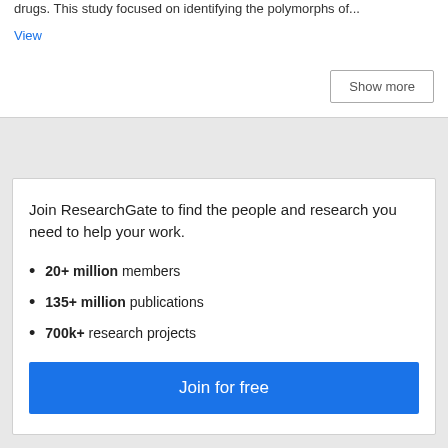drugs. This study focused on identifying the polymorphs of...
View
Show more
Join ResearchGate to find the people and research you need to help your work.
20+ million members
135+ million publications
700k+ research projects
Join for free